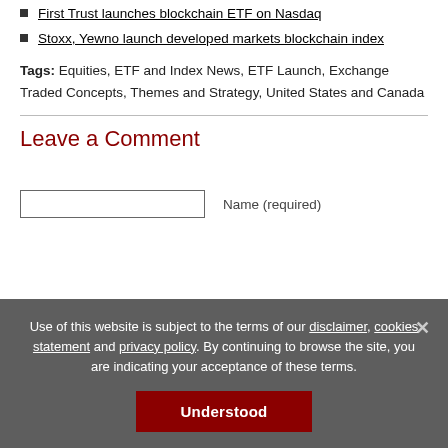First Trust launches blockchain ETF on Nasdaq
Stoxx, Yewno launch developed markets blockchain index
Tags: Equities, ETF and Index News, ETF Launch, Exchange Traded Concepts, Themes and Strategy, United States and Canada
Leave a Comment
Name (required)
Use of this website is subject to the terms of our disclaimer, cookies statement and privacy policy. By continuing to browse the site, you are indicating your acceptance of these terms.
Understood